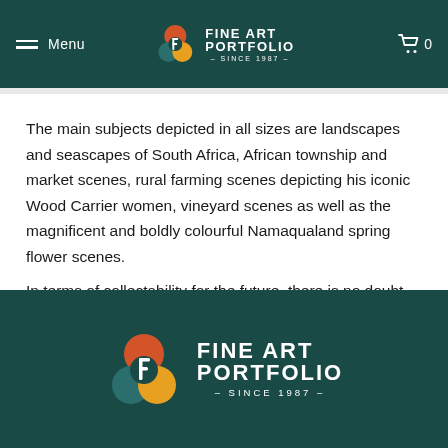Fine Art Portfolio – Since 1987 (navigation header)
The main subjects depicted in all sizes are landscapes and seascapes of South Africa, African township and market scenes, rural farming scenes depicting his iconic Wood Carrier women, vineyard scenes as well as the magnificent and boldly colourful Namaqualand spring flower scenes.
In terms of collectability for the future, there is no doubt that Mauro aspires to be a new South African Master.
Fine Art Portfolio – Since 1987 (footer logo)